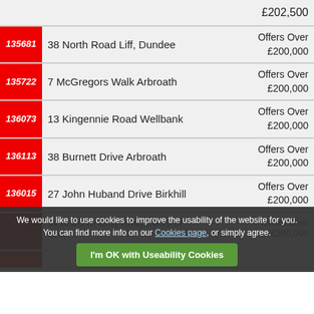£202,500
135681 — 38 North Road Liff, Dundee — Offers Over £200,000
135722 — 7 McGregors Walk Arbroath — Offers Over £200,000
136073 — 13 Kingennie Road Wellbank — Offers Over £200,000
136113 — 38 Burnett Drive Arbroath — Offers Over £200,000
136015 — 27 John Huband Drive Birkhill — Offers Over £200,000
We would like to use cookies to improve the usability of the website for you. You can find more info on our Cookies page, or simply agree.
14 Braes Of Gray Road Dykes Of Gray — Offers Over £200,000